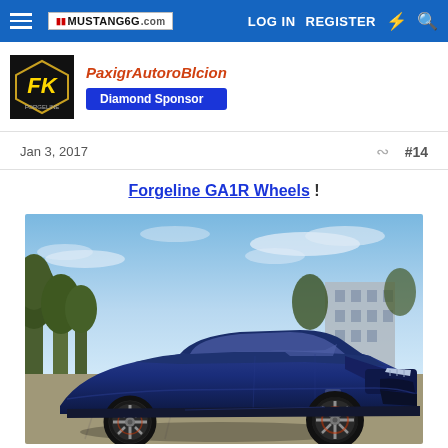MUSTANG6G.com — LOG IN  REGISTER
PaxigrAutoroBlcion
Diamond Sponsor
Jan 3, 2017   #14
Forgeline GA1R Wheels !
[Figure (photo): Blue Ford Mustang GT S550 lowered on Forgeline GA1R wheels, parked in a lot with trees and a building in background under a blue sky with clouds.]